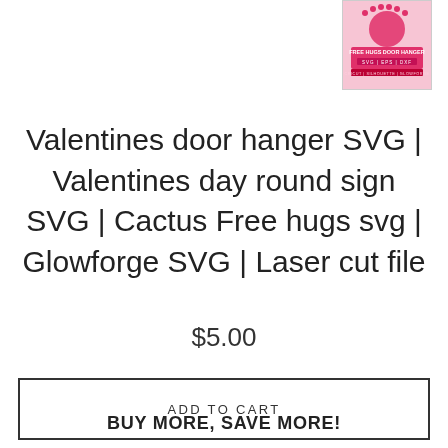[Figure (photo): Product thumbnail image for Valentines Free Hugs Door Hanger SVG showing pink/red design with text FREE HUGS DOOR HANGER, SVG | EPS | DXF, CRICUT | SILHOUETTE | GLOWFORGE]
Valentines door hanger SVG | Valentines day round sign SVG | Cactus Free hugs svg | Glowforge SVG | Laser cut file
$5.00
ADD TO CART
BUY MORE, SAVE MORE!